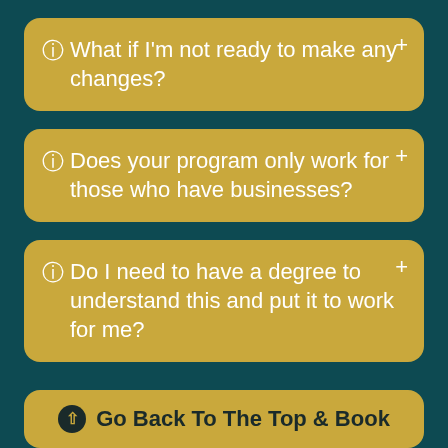❓ What if I'm not ready to make any changes?
❓ Does your program only work for those who have businesses?
❓ Do I need to have a degree to understand this and put it to work for me?
⬆ Go Back To The Top & Book